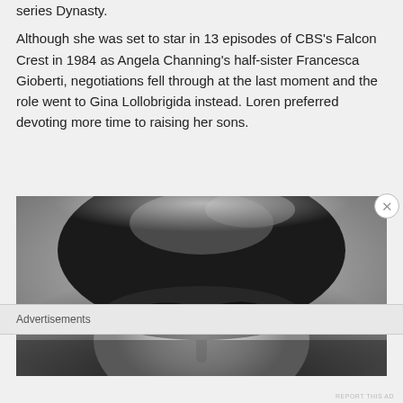series Dynasty.
Although she was set to star in 13 episodes of CBS's Falcon Crest in 1984 as Angela Channing's half-sister Francesca Gioberti, negotiations fell through at the last moment and the role went to Gina Lollobrigida instead. Loren preferred devoting more time to raising her sons.
[Figure (photo): Black and white close-up portrait photograph of a woman with dark hair, showing her face from about the eyes upward.]
Advertisements